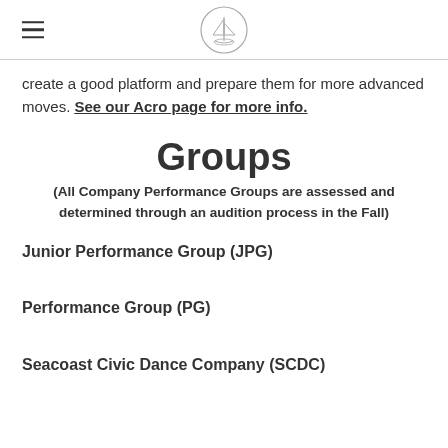[logo]
create a good platform and prepare them for more advanced moves. See our Acro page for more info.
Groups
(All Company Performance Groups are assessed and determined through an audition process in the Fall)
Junior Performance Group (JPG)
Performance Group (PG)
Seacoast Civic Dance Company (SCDC)